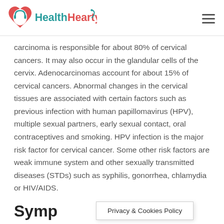HealthHearty
carcinoma is responsible for about 80% of cervical cancers. It may also occur in the glandular cells of the cervix. Adenocarcinomas account for about 15% of cervical cancers. Abnormal changes in the cervical tissues are associated with certain factors such as previous infection with human papillomavirus (HPV), multiple sexual partners, early sexual contact, oral contraceptives and smoking. HPV infection is the major risk factor for cervical cancer. Some other risk factors are weak immune system and other sexually transmitted diseases (STDs) such as syphilis, gonorrhea, chlamydia or HIV/AIDS.
Symp
Privacy & Cookies Policy